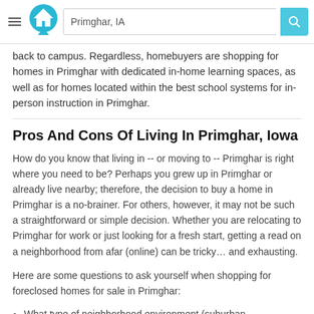Primghar, IA
back to campus. Regardless, homebuyers are shopping for homes in Primghar with dedicated in-home learning spaces, as well as for homes located within the best school systems for in-person instruction in Primghar.
Pros And Cons Of Living In Primghar, Iowa
How do you know that living in -- or moving to -- Primghar is right where you need to be? Perhaps you grew up in Primghar or already live nearby; therefore, the decision to buy a home in Primghar is a no-brainer. For others, however, it may not be such a straightforward or simple decision. Whether you are relocating to Primghar for work or just looking for a fresh start, getting a read on a neighborhood from afar (online) can be tricky... and exhausting.
Here are some questions to ask yourself when shopping for foreclosed homes for sale in Primghar:
What type of neighborhood environment (suburban,